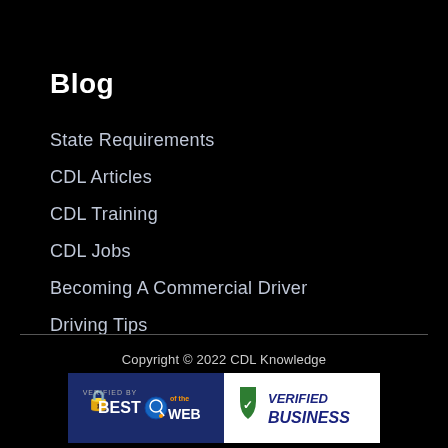Blog
State Requirements
CDL Articles
CDL Training
CDL Jobs
Becoming A Commercial Driver
Driving Tips
Copyright © 2022 CDL Knowledge
[Figure (logo): Verified by Best of the Web / Verified Business badge]